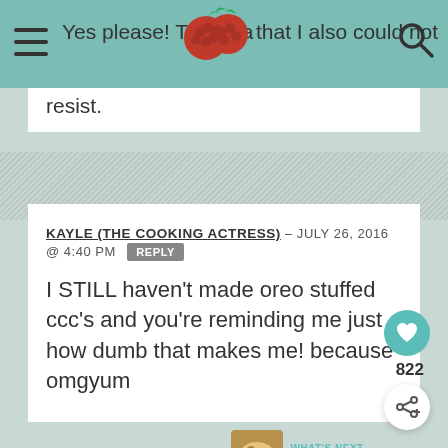Yes please! This is a [raspberry logo] that I also could not resist.
resist.
KAYLE (THE COOKING ACTRESS) – JULY 26, 2016 @ 4:40 PM  REPLY
I STILL haven't made oreo stuffed ccc's and you're reminding me just how dumb that makes me! because omgyum
SANDRA – JULY 24, 2016 @ 4:53 PM  REPLY
Give support to people recovering from crisis. Make a year-end donation.